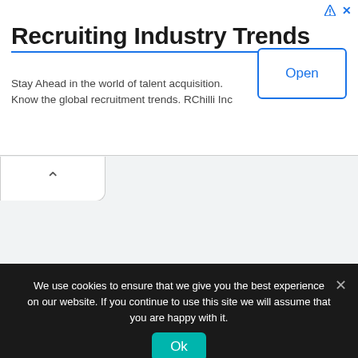Recruiting Industry Trends
Stay Ahead in the world of talent acquisition. Know the global recruitment trends. RChilli Inc
[Figure (screenshot): Open button with blue border on the right side of the ad banner]
[Figure (screenshot): Collapsed tab with chevron-up arrow icon]
We use cookies to ensure that we give you the best experience on our website. If you continue to use this site we will assume that you are happy with it.
Ok